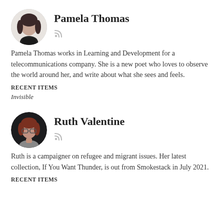[Figure (photo): Circular avatar photo of Pamela Thomas, a woman with dark hair]
Pamela Thomas
Pamela Thomas works in Learning and Development for a telecommunications company. She is a new poet who loves to observe the world around her, and write about what she sees and feels.
RECENT ITEMS
Invisible
[Figure (photo): Circular avatar photo of Ruth Valentine, a woman with reddish hair and glasses]
Ruth Valentine
Ruth is a campaigner on refugee and migrant issues. Her latest collection, If You Want Thunder, is out from Smokestack in July 2021.
RECENT ITEMS